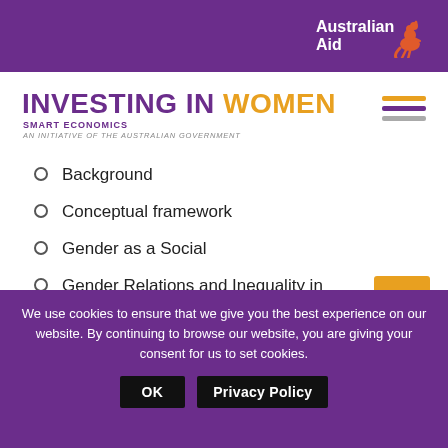Australian Aid
INVESTING IN WOMEN
SMART ECONOMICS
AN INITIATIVE OF THE AUSTRALIAN GOVERNMENT
Background
Conceptual framework
Gender as a Social
Gender Relations and Inequality in Contemporary Vietnam
Study Methods
We use cookies to ensure that we give you the best experience on our website. By continuing to browse our website, you are giving your consent for us to set cookies. OK  Privacy Policy